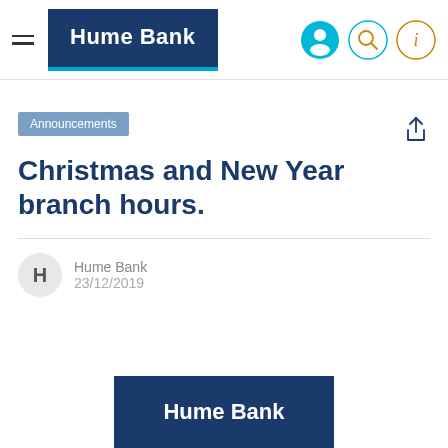Hume Bank
Announcements
Christmas and New Year branch hours.
Hume Bank
23/12/2019
[Figure (logo): Hume Bank logo — white bold text on dark navy background]